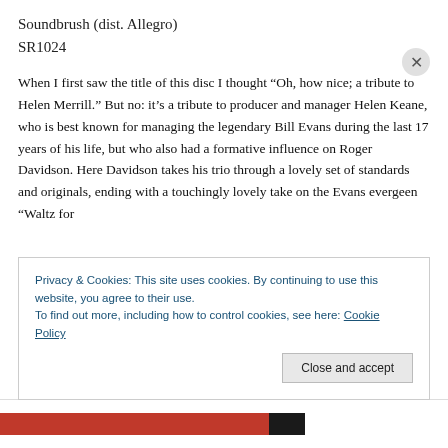Soundbrush (dist. Allegro)
SR1024
When I first saw the title of this disc I thought “Oh, how nice; a tribute to Helen Merrill.” But no: it’s a tribute to producer and manager Helen Keane, who is best known for managing the legendary Bill Evans during the last 17 years of his life, but who also had a formative influence on Roger Davidson. Here Davidson takes his trio through a lovely set of standards and originals, ending with a touchingly lovely take on the Evans evergeen “Waltz for
Privacy & Cookies: This site uses cookies. By continuing to use this website, you agree to their use.
To find out more, including how to control cookies, see here: Cookie Policy